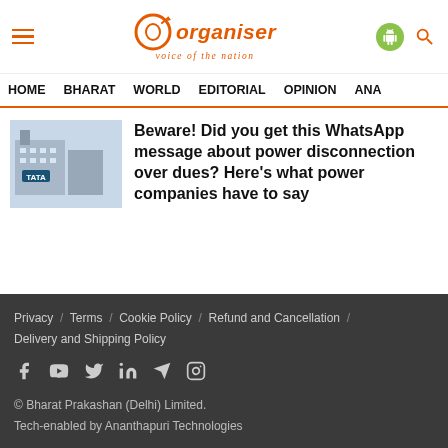Organiser - Voice of the Nation
HOME  BHARAT  WORLD  EDITORIAL  OPINION  ANA
Beware! Did you get this WhatsApp message about power disconnection over dues? Here's what power companies have to say
Privacy / Terms / Cookie Policy / Refund and Cancellation / Delivery and Shipping Policy
© Bharat Prakashan (Delhi) Limited.
Tech-enabled by Ananthapuri Technologies